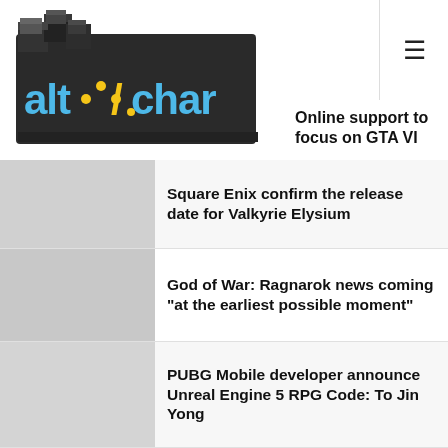[Figure (logo): AltChar logo — stylized pixel-art text 'altchar' in blue and yellow on dark cubic shapes]
Online support to focus on GTA VI
Square Enix confirm the release date for Valkyrie Elysium
God of War: Ragnarok news coming "at the earliest possible moment"
PUBG Mobile developer announce Unreal Engine 5 RPG Code: To Jin Yong
Here is the first look at Everywhere, a